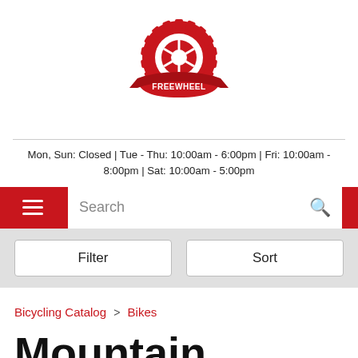[Figure (logo): Freewheel bicycle shop logo — red gear/sprocket with a ribbon banner reading FREEWHEEL]
Mon, Sun: Closed | Tue - Thu: 10:00am - 6:00pm | Fri: 10:00am - 8:00pm | Sat: 10:00am - 5:00pm
[Figure (screenshot): Navigation bar with hamburger menu icon on red background and search box with magnifying glass icon]
[Figure (screenshot): Filter and Sort buttons on grey background]
Bicycling Catalog > Bikes
Mountain